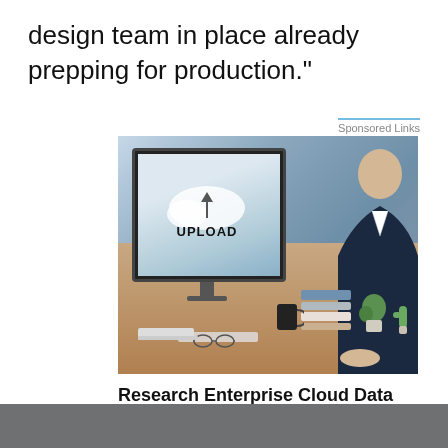design team in place already prepping for production."
Sponsored Links
[Figure (photo): A man in a suit sitting at a desk with a desktop computer showing a cloud upload graphic with the word UPLOAD, surrounded by books, a coffee mug, glasses, plants, and a laptop.]
Research Enterprise Cloud Data Storage ERP Solutions
Yahoo! Search